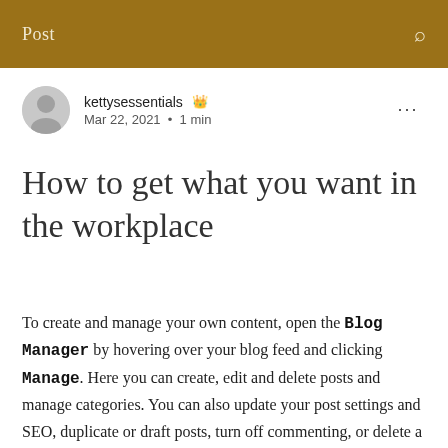Post
kettysessentials  Mar 22, 2021 · 1 min
How to get what you want in the workplace
To create and manage your own content, open the Blog Manager by hovering over your blog feed and clicking Manage. Here you can create, edit and delete posts and manage categories. You can also update your post settings and SEO, duplicate or draft posts, turn off commenting, or delete a post altogether by clicking Edit on each blog post.